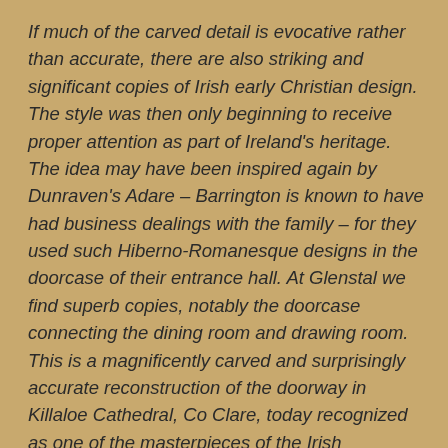If much of the carved detail is evocative rather than accurate, there are also striking and significant copies of Irish early Christian design. The style was then only beginning to receive proper attention as part of Ireland's heritage. The idea may have been inspired again by Dunraven's Adare – Barrington is known to have had business dealings with the family – for they used such Hiberno-Romanesque designs in the doorcase of their entrance hall. At Glenstal we find superb copies, notably the doorcase connecting the dining room and drawing room. This is a magnificently carved and surprisingly accurate reconstruction of the doorway in Killaloe Cathedral, Co Clare, today recognized as one of the masterpieces of the Irish Romanesque. A lack of understanding of the importance of such work was prevalent in mid-nineteenth-century Ireland – it might be compared to the recent lack of interest in the heritage of the country house – and its introduction here was an